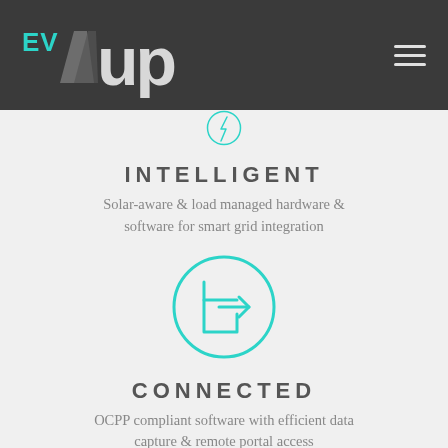[Figure (logo): EVup logo with teal EV text and grey Up text with diagonal slash, on dark background]
[Figure (infographic): Teal circle with lightning bolt icon representing Intelligent feature (partially visible at top)]
INTELLIGENT
Solar-aware & load managed hardware & software for smart grid integration
[Figure (infographic): Teal circle outline with login/enter arrow icon representing Connected feature]
CONNECTED
OCPP compliant software with efficient data capture & remote portal access